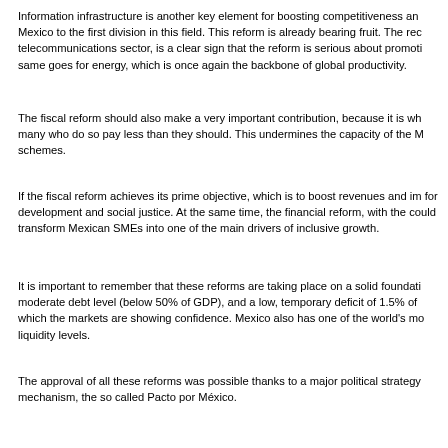Information infrastructure is another key element for boosting competitiveness and Mexico to the first division in this field. This reform is already bearing fruit. The re telecommunications sector, is a clear sign that the reform is serious about promoti same goes for energy, which is once again the backbone of global productivity.
The fiscal reform should also make a very important contribution, because it is wh many who do so pay less than they should. This undermines the capacity of the M schemes.
If the fiscal reform achieves its prime objective, which is to boost revenues and im for development and social justice. At the same time, the financial reform, with the could transform Mexican SMEs into one of the main drivers of inclusive growth.
It is important to remember that these reforms are taking place on a solid foundati moderate debt level (below 50% of GDP), and a low, temporary deficit of 1.5% of which the markets are showing confidence. Mexico also has one of the world's mo liquidity levels.
The approval of all these reforms was possible thanks to a major political strategy mechanism, the so called Pacto por México.
This Pact is becoming a case study in itself, an international reference or benchm most illustrative and recent examples of this crucial relationship. After years of sta and the reforms that have emanated from this effort, have changed the world's...